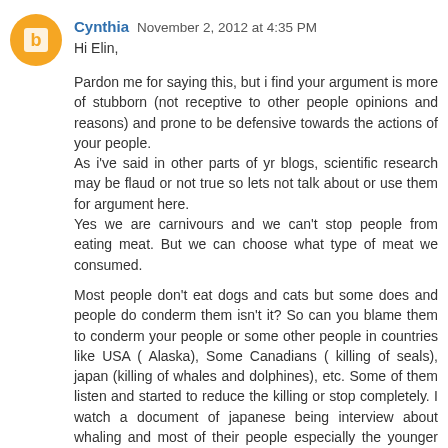Cynthia  November 2, 2012 at 4:35 PM
Hi Elin,
Pardon me for saying this, but i find your argument is more of stubborn (not receptive to other people opinions and reasons) and prone to be defensive towards the actions of your people.
As i've said in other parts of yr blogs, scientific research may be flaud or not true so lets not talk about or use them for argument here.
Yes we are carnivours and we can't stop people from eating meat. But we can choose what type of meat we consumed.
Most people don't eat dogs and cats but some does and people do conderm them isn't it? So can you blame them to conderm your people or some other people in countries like USA ( Alaska), Some Canadians ( killing of seals), japan (killing of whales and dolphines), etc. Some of them listen and started to reduce the killing or stop completely. I watch a document of japanese being interview about whaling and most of their people especially the younger generations